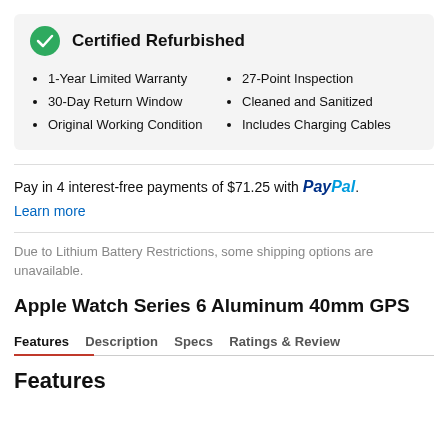Certified Refurbished
1-Year Limited Warranty
30-Day Return Window
Original Working Condition
27-Point Inspection
Cleaned and Sanitized
Includes Charging Cables
Pay in 4 interest-free payments of $71.25 with PayPal. Learn more
Due to Lithium Battery Restrictions, some shipping options are unavailable.
Apple Watch Series 6 Aluminum 40mm GPS
Features   Description   Specs   Ratings & Reviews
Features